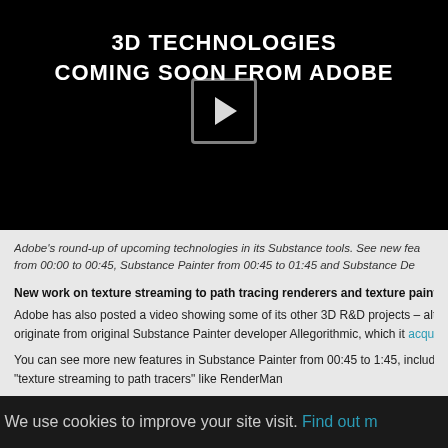[Figure (screenshot): Video thumbnail with black background showing text '3D TECHNOLOGIES COMING SOON FROM ADOBE' with a play button overlay in the center]
Adobe's round-up of upcoming technologies in its Substance tools. See new fea from 00:00 to 00:45, Substance Painter from 00:45 to 01:45 and Substance De
New work on texture streaming to path tracing renderers and texture painting in
Adobe has also posted a video showing some of its other 3D R&D projects – alt originate from original Substance Painter developer Allegorithmic, which it acqu
You can see more new features in Substance Painter from 00:45 to 1:45, includi "texture streaming to path tracers" like RenderMan
We use cookies to improve your site visit. Find out m